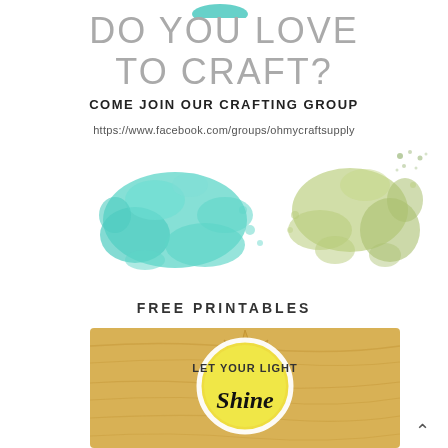DO YOU LOVE TO CRAFT?
COME JOIN OUR CRAFTING GROUP
https://www.facebook.com/groups/ohmycraftsupply
[Figure (illustration): Watercolor paint splatter blobs in teal/turquoise on the left and yellow-green on the right]
FREE PRINTABLES
[Figure (illustration): A printable design on a wood-grain background with a yellow circle and starburst/banner shape. Text reads 'LET YOUR LIGHT Shine']